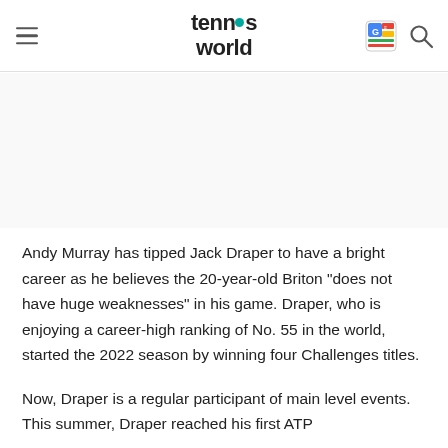tennis world
Andy Murray has tipped Jack Draper to have a bright career as he believes the 20-year-old Briton "does not have huge weaknesses" in his game. Draper, who is enjoying a career-high ranking of No. 55 in the world, started the 2022 season by winning four Challenges titles.
Now, Draper is a regular participant of main level events. This summer, Draper reached his first ATP